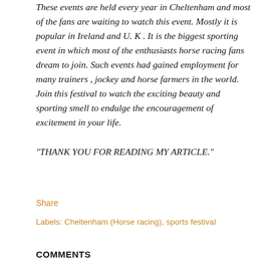These events are held every year in Cheltenham and most of the fans are waiting to watch this event. Mostly it is popular in Ireland and U. K . It is the biggest sporting event in which most of the enthusiasts horse racing fans dream to join. Such events had gained employment for many trainers , jockey and horse farmers in the world. Join this festival to watch the exciting beauty and sporting smell to endulge the encouragement of excitement in your life.
"THANK YOU FOR READING MY ARTICLE."
Share
Labels: Cheltenham (Horse racing), sports festival
COMMENTS